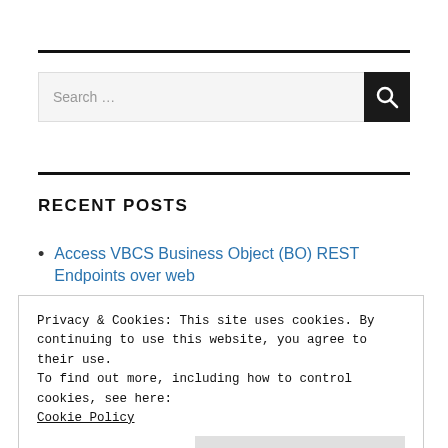[Figure (other): Horizontal black divider line at top of sidebar section]
[Figure (screenshot): Search bar with text placeholder 'Search ...' and a black search button with magnifying glass icon]
[Figure (other): Horizontal black divider line separating search from Recent Posts]
RECENT POSTS
Access VBCS Business Object (BO) REST Endpoints over web
Privacy & Cookies: This site uses cookies. By continuing to use this website, you agree to their use.
To find out more, including how to control cookies, see here:
Cookie Policy
Close and accept
TLS Migration – A better way